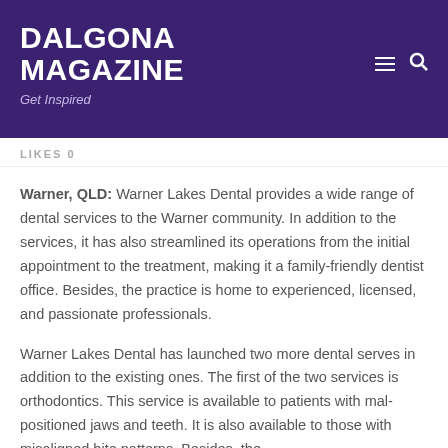DALGONA MAGAZINE
Get Inspired
LIKES 0
Warner, QLD: Warner Lakes Dental provides a wide range of dental services to the Warner community. In addition to the services, it has also streamlined its operations from the initial appointment to the treatment, making it a family-friendly dentist office. Besides, the practice is home to experienced, licensed, and passionate professionals.
Warner Lakes Dental has launched two more dental serves in addition to the existing ones. The first of the two services is orthodontics. This service is available to patients with mal-positioned jaws and teeth. It is also available to those with misaligned bite patterns. Besides, the